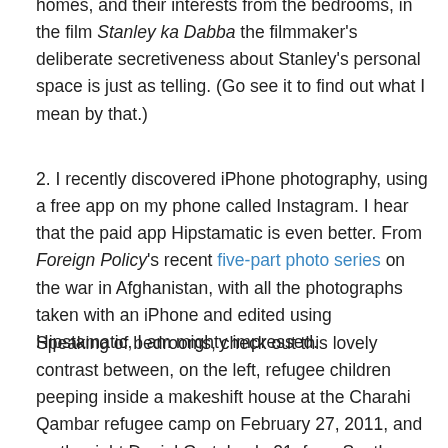homes, and their interests from the bedrooms, in the film Stanley ka Dabba the filmmaker's deliberate secretiveness about Stanley's personal space is just as telling. (Go see it to find out what I mean by that.)
2. I recently discovered iPhone photography, using a free app on my phone called Instagram. I hear that the paid app Hipstamatic is even better. From Foreign Policy's recent five-part photo series on the war in Afghanistan, with all the photographs taken with an iPhone and edited using Hipstamatic, I am mighty impressed.
Speaking of bedrooms, check out this lovely contrast between, on the left, refugee children peeping inside a makeshift house at the Charahi Qambar refugee camp on February 27, 2011, and on the right, Daniel Gretebeck, 21, from South Lyon, Michigan, rests on his cot at Forward